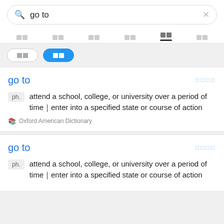go to (search query)
Tabs: navigation tabs with active tab highlighted
Filter buttons: (unselected) (selected/blue)
go to — ph. attend a school, college, or university over a period of time｜enter into a specified state or course of action — Oxford American Dictionary
go to — ph. attend a school, college, or university over a period of time｜enter into a specified state or course of action